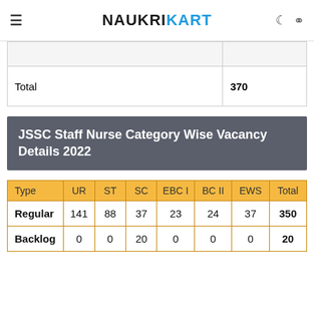NAUKRIKART
|  |  |
| --- | --- |
|  |  |
| Total | 370 |
JSSC Staff Nurse Category Wise Vacancy Details 2022
| Type | UR | ST | SC | EBC I | BC II | EWS | Total |
| --- | --- | --- | --- | --- | --- | --- | --- |
| Regular | 141 | 88 | 37 | 23 | 24 | 37 | 350 |
| Backlog | 0 | 0 | 20 | 0 | 0 | 0 | 20 |